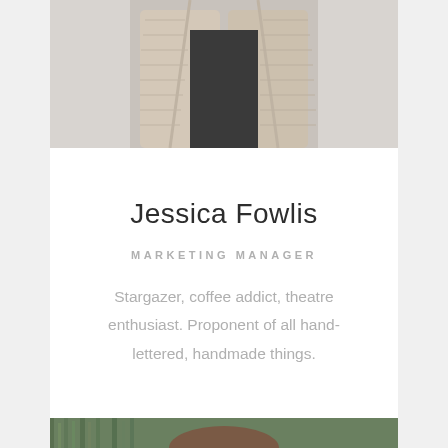[Figure (photo): Top portion of a person wearing a beige/cream knit cardigan over a black shirt, photographed against a light gray background. Only the torso/lower body visible.]
Jessica Fowlis
MARKETING MANAGER
Stargazer, coffee addict, theatre enthusiast. Proponent of all hand-lettered, handmade things.
[Figure (photo): Top portion of a woman with brown hair photographed outdoors in front of tall green grass or reeds.]